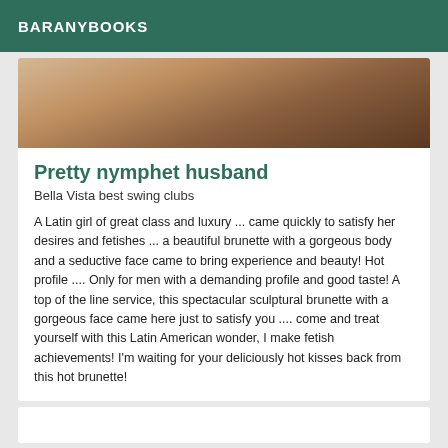BARANYBOOKS
[Figure (photo): Close-up photo of a person's torso and legs, warm brown skin tones, partial body view]
Pretty nymphet husband
Bella Vista best swing clubs
A Latin girl of great class and luxury ... came quickly to satisfy her desires and fetishes ... a beautiful brunette with a gorgeous body and a seductive face came to bring experience and beauty! Hot profile .... Only for men with a demanding profile and good taste! A top of the line service, this spectacular sculptural brunette with a gorgeous face came here just to satisfy you .... come and treat yourself with this Latin American wonder, I make fetish achievements! I'm waiting for your deliciously hot kisses back from this hot brunette!